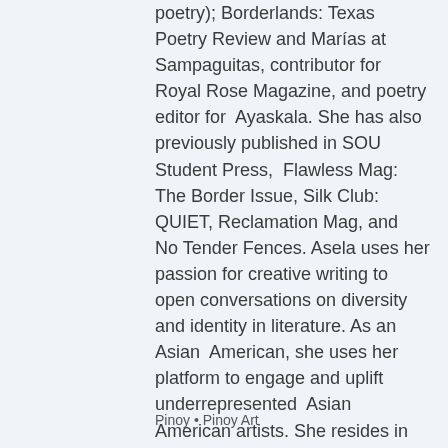poetry); Borderlands: Texas Poetry Review and Marías at Sampaguitas, contributor for Royal Rose Magazine, and poetry editor for Ayaskala. She has also previously published in SOU Student Press, Flawless Mag: The Border Issue, Silk Club: QUIET, Reclamation Mag, and No Tender Fences. Asela uses her passion for creative writing to open conversations on diversity and identity in literature. As an Asian American, she uses her platform to engage and uplift underrepresented Asian American artists. She resides in Oregon, USA with her family.
Pinoy • Pinoy Art